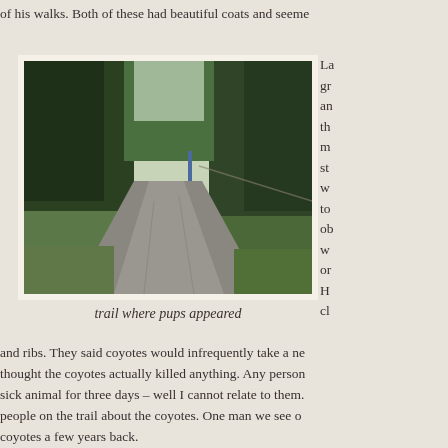of his walks. Both of these had beautiful coats and seeme
[Figure (photo): A gravel trail winding through a dense green forest with trees on both sides]
trail where pups appeared
La
gr
an
th
m
st
w
to
ob
w
or
H
cl
and ribs.  They said coyotes would infrequently take a ne thought the coyotes actually killed anything.  Any person sick animal for three days – well I cannot relate to them. people on the trail about the coyotes.   One man we see o coyotes a few years back.